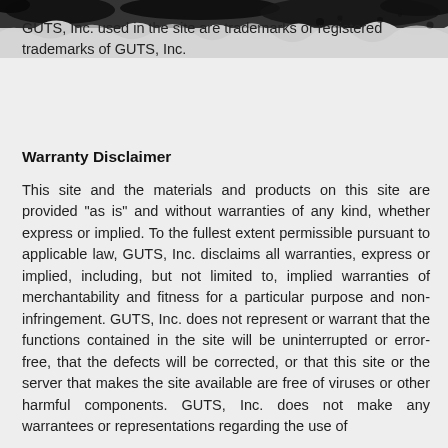[Figure (photo): Dark textured grunge/torn paper image at the top of the page]
GUTS, Inc. used in the site are trademarks or registered trademarks of GUTS, Inc.
Warranty Disclaimer
This site and the materials and products on this site are provided "as is" and without warranties of any kind, whether express or implied. To the fullest extent permissible pursuant to applicable law, GUTS, Inc. disclaims all warranties, express or implied, including, but not limited to, implied warranties of merchantability and fitness for a particular purpose and non-infringement. GUTS, Inc. does not represent or warrant that the functions contained in the site will be uninterrupted or error-free, that the defects will be corrected, or that this site or the server that makes the site available are free of viruses or other harmful components. GUTS, Inc. does not make any warrantees or representations regarding the use of